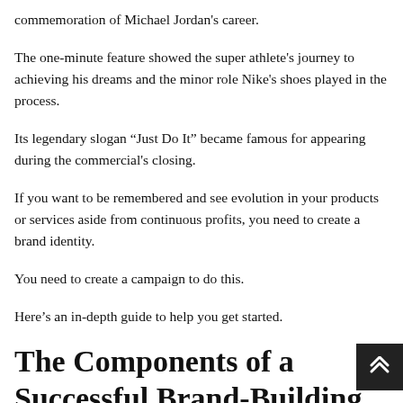commemoration of Michael Jordan's career.
The one-minute feature showed the super athlete's journey to achieving his dreams and the minor role Nike's shoes played in the process.
Its legendary slogan “Just Do It” became famous for appearing during the commercial's closing.
If you want to be remembered and see evolution in your products or services aside from continuous profits, you need to create a brand identity.
You need to create a campaign to do this.
Here’s an in-depth guide to help you get started.
The Components of a Successful Brand-Building Campaign Through Storytelling